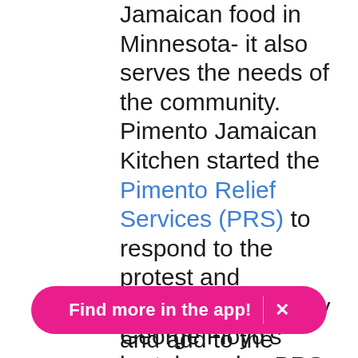Jamaican food in Minnesota- it also serves the needs of the community. Pimento Jamaican Kitchen started the Pimento Relief Services (PRS) to respond to the protest and rebellion spurred by George Floyd's brutal murder. PRS aims and add to the
Find more in the app! ×